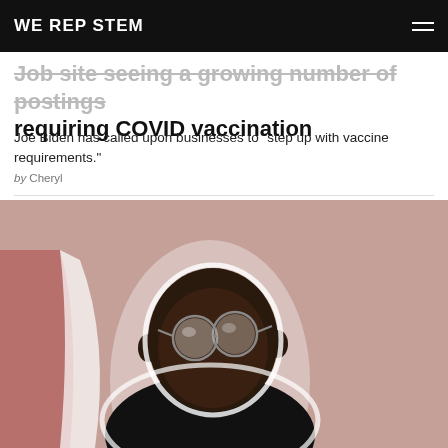WE REP STEM
Job site seeing a growing number of postings requiring COVID vaccination
Joe Biden has called upon businesses to "step up with vaccine requirements."
by Cheryl
[Figure (photo): Portrait of a young Black man wearing round reflective glasses and a black turtleneck sweater, photographed against a muted pink/mauve background with a white cutout silhouette effect.]